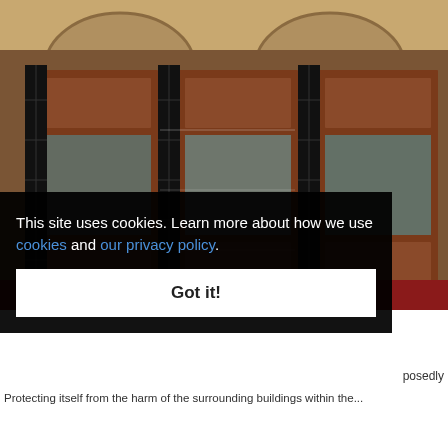[Figure (photo): Interior photo showing ornate wooden doors with glass panels and black metal lattice/grid security screens, arched architectural details visible at top, red carpet visible at bottom right]
This site uses cookies. Learn more about how we use cookies and our privacy policy.
Got it!
posedly
Protecting itself from the harm of the surrounding buildings within the...